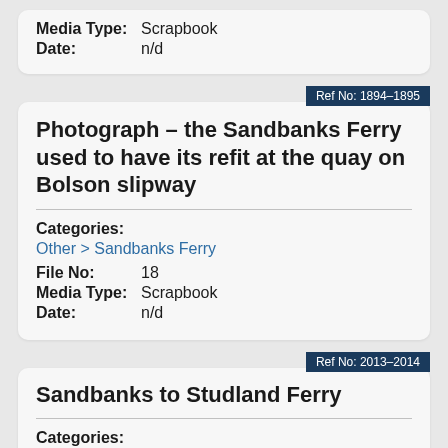Media Type: Scrapbook
Date: n/d
Ref No: 1894-1895
Photograph – the Sandbanks Ferry used to have its refit at the quay on Bolson slipway
Categories:
Other > Sandbanks Ferry
File No: 18
Media Type: Scrapbook
Date: n/d
Ref No: 2013-2014
Sandbanks to Studland Ferry
Categories:
Other > Sandbanks Ferry
File No: 20